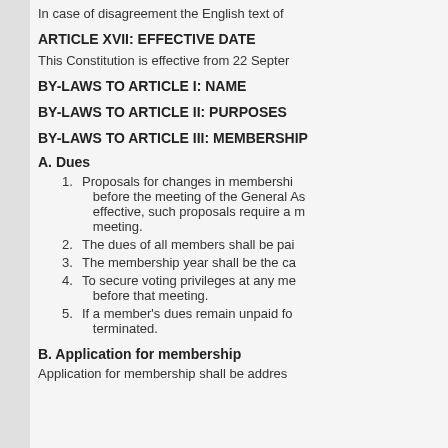In case of disagreement the English text of
ARTICLE XVII: EFFECTIVE DATE
This Constitution is effective from 22 Septem
BY-LAWS TO ARTICLE I: NAME
BY-LAWS TO ARTICLE II: PURPOSES
BY-LAWS TO ARTICLE III: MEMBERSHIP
A. Dues
1. Proposals for changes in membership before the meeting of the General As effective, such proposals require a m meeting.
2. The dues of all members shall be pai
3. The membership year shall be the ca
4. To secure voting privileges at any me before that meeting.
5. If a member's dues remain unpaid fo terminated.
B. Application for membership
Application for membership shall be addres